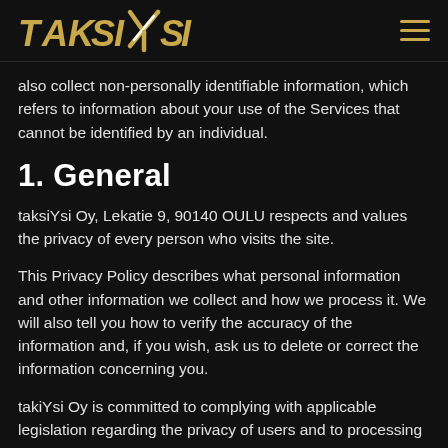TAKSIYSI [logo] [hamburger menu]
also collect non-personally identifiable information, which refers to information about your use of the Services that cannot be identified by an individual.
1. General
taksiYsi Oy, Lekatie 9, 90140 OULU respects and values the privacy of every person who visits the site.
This Privacy Policy describes what personal information and other information we collect and how we process it. We will also tell you how to verify the accuracy of the information and, if you wish, ask us to delete or correct the information concerning you.
takiYsi Oy is committed to complying with applicable legislation regarding the privacy of users and to processing